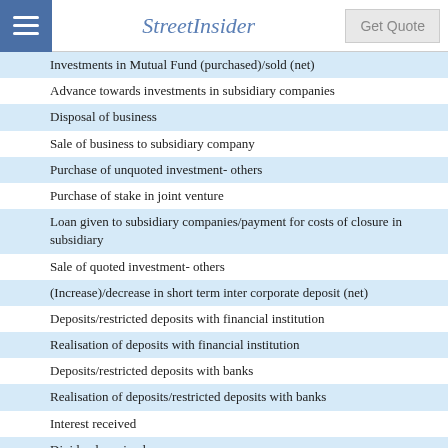StreetInsider | Get Quote
Investments in Mutual Fund (purchased)/sold (net)
Advance towards investments in subsidiary companies
Disposal of business
Sale of business to subsidiary company
Purchase of unquoted investment- others
Purchase of stake in joint venture
Loan given to subsidiary companies/payment for costs of closure in subsidiary
Sale of quoted investment- others
(Increase)/decrease in short term inter corporate deposit (net)
Deposits/restricted deposits with financial institution
Realisation of deposits with financial institution
Deposits/restricted deposits with banks
Realisation of deposits/restricted deposits with banks
Interest received
Dividend received
Net cash used in investing activities
III  Cash flows from financing activities
Proceeds from issue of shares/conversion of warrants (net of issue expenses)
Proceeds from Share Application pending allotment
Proceeds from long-term borrowings (net of issue expenses)
Repayment of long-term borrowings